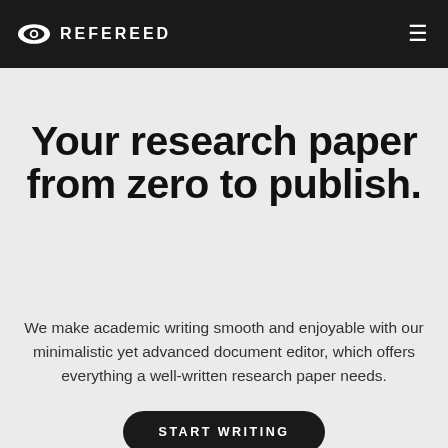REFEREED
Your research paper from zero to publish.
We make academic writing smooth and enjoyable with our minimalistic yet advanced document editor, which offers everything a well-written research paper needs.
START WRITING
[Figure (screenshot): Screenshot of the Refereed document editor interface showing a dark header with the Refereed logo and a white document editing area with a sidebar showing author fields]